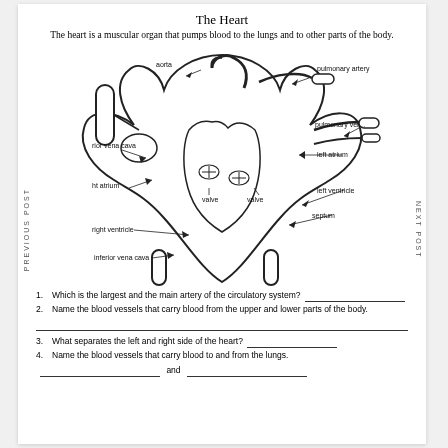The Heart
The heart is a muscular organ that pumps blood to the lungs and to other parts of the body.
[Figure (illustration): Anatomical diagram of the human heart with labeled parts: aorta, pulmonary artery, pulmonary vein, left atrium, left ventricle, valve (x2), septum, right ventricle, right atrium, inferior vena cava, superior vena cava (partially visible as 'rior vena cava' and 'ht atrium')]
1. Which is the largest and the main artery of the circulatory system? _______________
2. Name the blood vessels that carry blood from the upper and lower parts of the body.
3. What separates the left and right side of the heart? ___________________________
4. Name the blood vessels that carry blood to and from the lungs.
_______________ and _______________